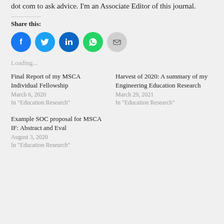dot com to ask advice. I'm an Associate Editor of this journal.
Share this:
[Figure (infographic): Five social share icon buttons: Facebook (blue circle), Twitter (blue circle), LinkedIn (dark blue circle), WhatsApp (green circle), Email (grey circle)]
Loading...
Final Report of my MSCA Individual Fellowship
March 6, 2020
In "Education Research"
Harvest of 2020: A summary of my Engineering Education Research
March 29, 2021
In "Education Research"
Example SOC proposal for MSCA IF: Abstract and Eval
August 3, 2020
In "Education Research"